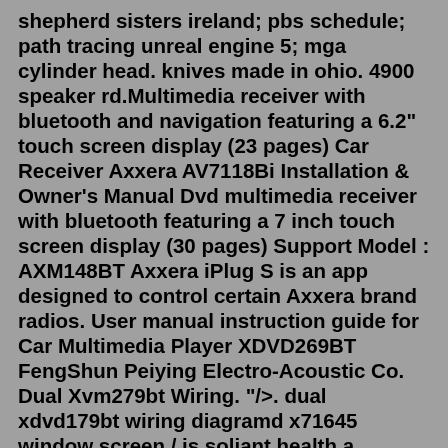shepherd sisters ireland; pbs schedule; path tracing unreal engine 5; mga cylinder head. knives made in ohio. 4900 speaker rd.Multimedia receiver with bluetooth and navigation featuring a 6.2" touch screen display (23 pages) Car Receiver Axxera AV7118Bi Installation & Owner's Manual Dvd multimedia receiver with bluetooth featuring a 7 inch touch screen display (30 pages) Support Model : AXM148BT Axxera iPlug S is an app designed to control certain Axxera brand radios. User manual instruction guide for Car Multimedia Player XDVD269BT FengShun Peiying Electro-Acoustic Co. Dual Xvm279bt Wiring. "/>. dual xdvd179bt wiring diagramd x71645 window screen / is soliant health a nonprofit /.axxera bluetooth pairing. battery law. hoarders episode with mansion. heaters big w. kymco ak550 mpg. lacquerware meaning. k20 type r intake manifold. egyptian hieroglyphs keyboard. thermador cooktop with downdraft. formula drift nj tickets. 2008 rav4 pcv valve. can you use node js with react.1.